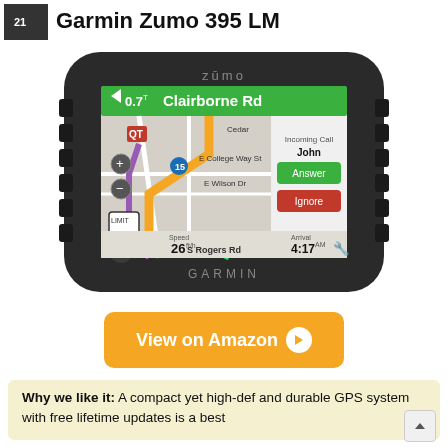Garmin Zumo 395 LM
[Figure (photo): Garmin Zumo 395 LM GPS device showing navigation screen with map, incoming call from John with Answer and Ignore buttons, speed 26, arrival time 4:17, and directions to Clairborne Rd in 0.7 miles.]
View on Amazon →
Why we like it: A compact yet high-def and durable GPS system with free lifetime updates is a best